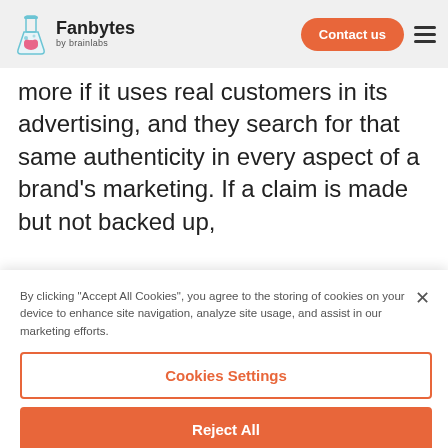Fanbytes by brainlabs — Contact us
more if it uses real customers in its advertising, and they search for that same authenticity in every aspect of a brand's marketing. If a claim is made but not backed up,
By clicking "Accept All Cookies", you agree to the storing of cookies on your device to enhance site navigation, analyze site usage, and assist in our marketing efforts.
Cookies Settings
Reject All
Accept All Cookies